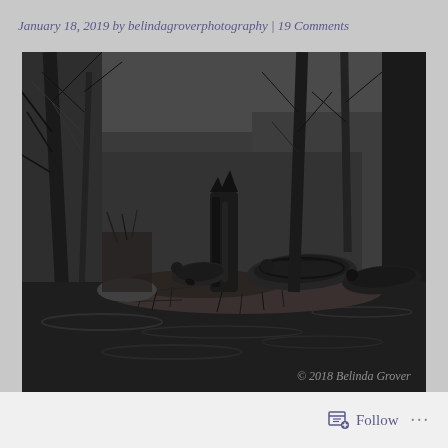January 18, 2019 by belindagroverphotography | 19 Comments
[Figure (photo): Black and white photograph of turtles sunning on a log or island in a swamp or wetland, with bare tree branches, water reflections, and a watermark reading '© 2018 Belinda Grover' in the lower right corner.]
Follow ...